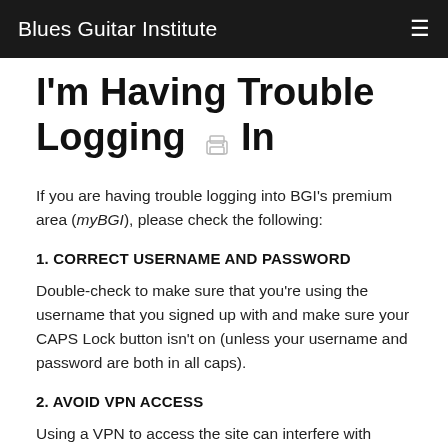Blues Guitar Institute
I'm Having Trouble Logging In
If you are having trouble logging into BGI's premium area (myBGI), please check the following:
1. CORRECT USERNAME AND PASSWORD
Double-check to make sure that you're using the username that you signed up with and make sure your CAPS Lock button isn't on (unless your username and password are both in all caps).
2. AVOID VPN ACCESS
Using a VPN to access the site can interfere with authentication. Please attempt to login from outside of your VPN connection.